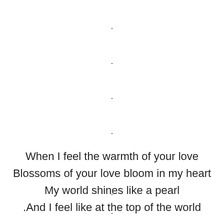.
.
.
.
When I feel the warmth of your love
Blossoms of your love bloom in my heart
My world shines like a pearl
.And I feel like at the top of the world
.
.